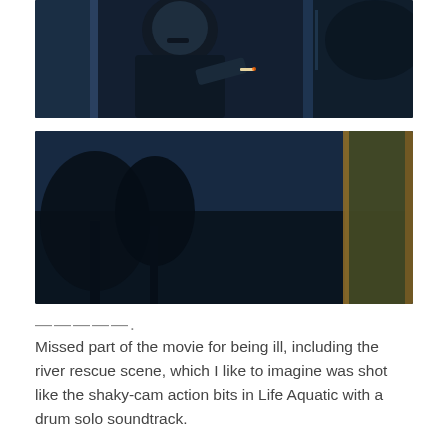[Figure (photo): Dark cinematic still showing a man with a mustache leaning out from a train doorway, holding a cigarette, set against a night blue background]
[Figure (photo): Dark cinematic still showing a woman leaning out from a train doorway at dusk/night, holding a cigarette near her face, wearing a teal/blue outfit, with trees silhouetted in the background]
—————.
Missed part of the movie for being ill, including the river rescue scene, which I like to imagine was shot like the shaky-cam action bits in Life Aquatic with a drum solo soundtrack.